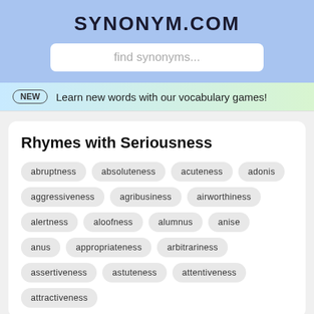SYNONYM.COM
find synonyms...
NEW  Learn new words with our vocabulary games!
Rhymes with Seriousness
abruptness
absoluteness
acuteness
adonis
aggressiveness
agribusiness
airworthiness
alertness
aloofness
alumnus
anise
anus
appropriateness
arbitrariness
assertiveness
astuteness
attentiveness
attractiveness